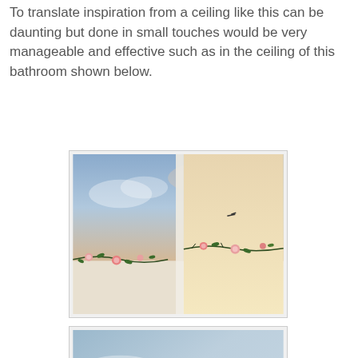To translate inspiration from a ceiling like this can be daunting but done in small touches would be very manageable and effective such as in the ceiling of this bathroom shown below.
[Figure (photo): Photo of a bathroom ceiling corner showing blue sky painted on the ceiling with floral vine border decoration along the wall-ceiling junction on white walls.]
[Figure (photo): Photo of a bathroom ceiling showing blue sky with soft white clouds painted on the ceiling surface, with a partial view of bathroom fixtures below.]